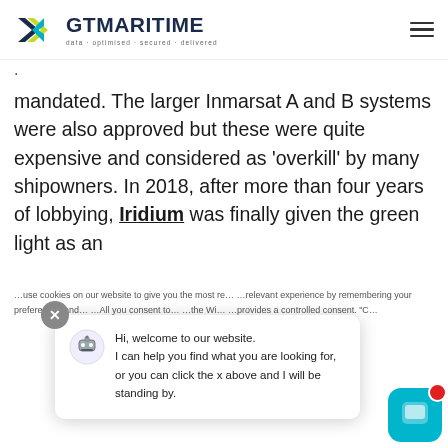[Figure (logo): GT Maritime logo with arrows/chevron shapes in blue and yellow-green and dark navy, tagline: data · optimised · secured · delivered]
. mandated. The larger Inmarsat A and B systems were also approved but these were quite expensive and considered as 'overkill' by many shipowners. In 2018, after more than four years of lobbying, Iridium was finally given the green light as an
Hi, welcome to our website. I can help you find what you are looking for, or you can click the x above and I will be standing by.